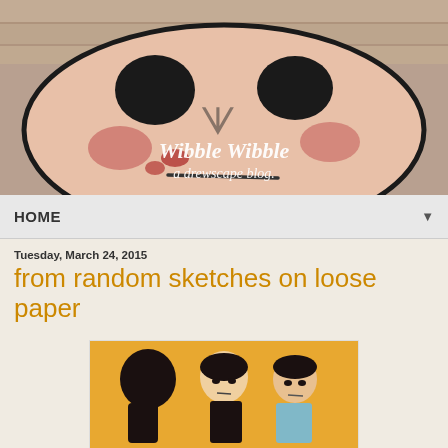[Figure (illustration): Blog header banner showing a painted clay/ceramic face with rosy cheeks and minimal features on a wood-grain background, with white handwritten script text reading 'Wibble Wibble a drewscape blog.']
HOME ▼
Tuesday, March 24, 2015
from random sketches on loose paper
[Figure (illustration): Illustration of three cartoon-style children figures with dark hair against a golden/yellow background, drawn in a simple stylized manner with expressive downturned faces.]